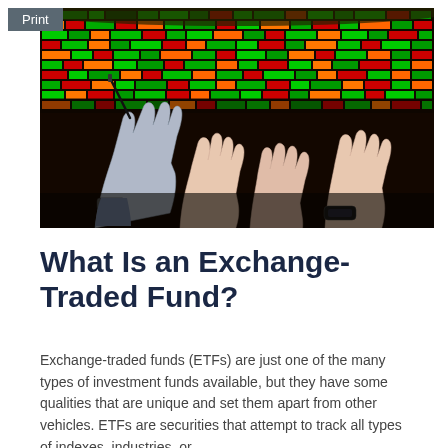Print
[Figure (photo): Photograph of multiple hands raised in a trading floor environment, with a large illuminated stock market ticker board showing green, red, and orange figures in the background. One hand holds a pen. People are wearing business attire.]
What Is an Exchange-Traded Fund?
Exchange-traded funds (ETFs) are just one of the many types of investment funds available, but they have some qualities that are unique and set them apart from other vehicles. ETFs are securities that attempt to track all types of indexes, industries, or